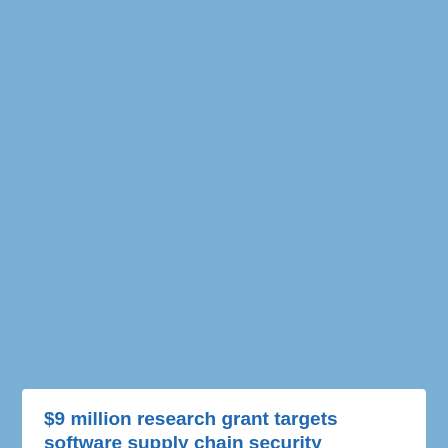John McMahon named Director of Safety & Risk Management at GSU
Risk management executive Dr. John McMahon has joined Grambling State University (GSU) as the new Director of Safety and Risk Management.
Austin Siders named CIO at the University of Southern Indiana
Austin Siders has been named Chief Information Officer (CIO) at the University of Southern Indiana, where he will lead tech and cybersecurity efforts.
$9 million research grant targets software supply chain security